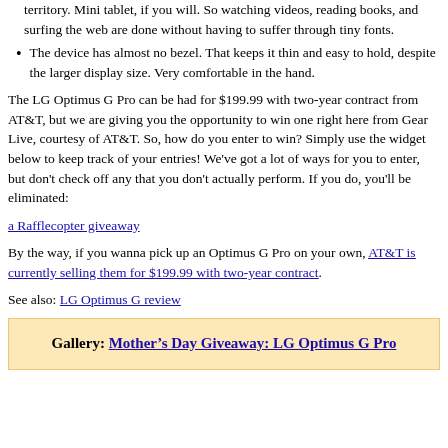territory. Mini tablet, if you will. So watching videos, reading books, and surfing the web are done without having to suffer through tiny fonts.
The device has almost no bezel. That keeps it thin and easy to hold, despite the larger display size. Very comfortable in the hand.
The LG Optimus G Pro can be had for $199.99 with two-year contract from AT&T, but we are giving you the opportunity to win one right here from Gear Live, courtesy of AT&T. So, how do you enter to win? Simply use the widget below to keep track of your entries! We've got a lot of ways for you to enter, but don't check off any that you don't actually perform. If you do, you'll be eliminated:
a Rafflecopter giveaway
By the way, if you wanna pick up an Optimus G Pro on your own, AT&T is currently selling them for $199.99 with two-year contract.
See also: LG Optimus G review
Gallery: Mother’s Day Giveaway: LG Optimus G Pro